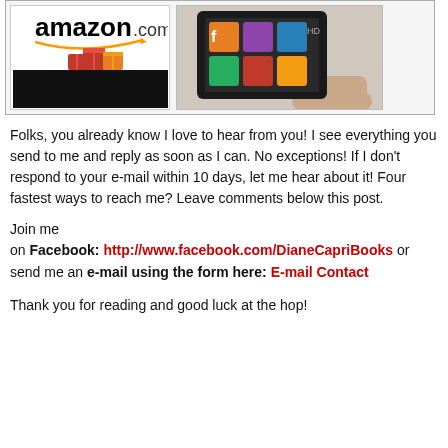[Figure (photo): Two images side by side: left shows an Amazon.com gift card with orange decorative boxes, right shows a Kindle Fire tablet being held by a hand displaying apps including Facebook]
Folks, you already know I love to hear from you! I see everything you send to me and reply as soon as I can. No exceptions! If I don't respond to your e-mail within 10 days, let me hear about it! Four fastest ways to reach me? Leave comments below this post.
Join me on Facebook: http://www.facebook.com/DianeCapriBooks or send me an e-mail using the form here: E-mail Contact
Thank you for reading and good luck at the hop!